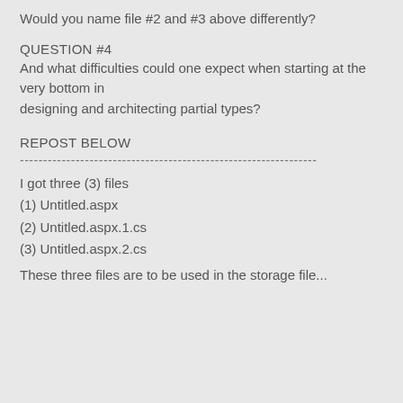Would you name file #2 and #3 above differently?
QUESTION #4
And what difficulties could one expect when starting at the very bottom in designing and architecting partial types?
REPOST BELOW
----------------------------------------------------------------
I got three (3) files
(1) Untitled.aspx
(2) Untitled.aspx.1.cs
(3) Untitled.aspx.2.cs
These three files are to be used in the storage file...